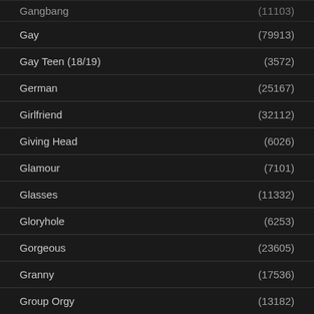Gangbang (11103)
Gay (79913)
Gay Teen (18/19) (3572)
German (25167)
Girlfriend (32112)
Giving Head (6026)
Glamour (7101)
Glasses (11332)
Gloryhole (6253)
Gorgeous (23605)
Granny (17536)
Group Orgy (13182)